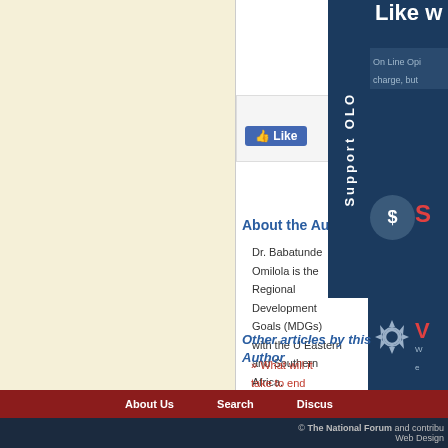[Figure (screenshot): Facebook Like and Share buttons in a light grey box]
About the Author
Dr. Babatunde Omilola is the Regional Development Goals (MDGs) with the U Eastern and Southern Africa.
Other articles by this Author
» What will it take to end poverty by 20
» The fight against poverty and hunger
» Inclusive and equitable growth for po
All articles by Babatunde Omilola
This w
[Figure (screenshot): Right sidebar with blue background showing dollar sign icon with red S text and gear/cog icon with V text, plus Support OLO vertical tab text and Like w heading]
About Us   Search   Discuss
© The National Forum and contribu Web Design